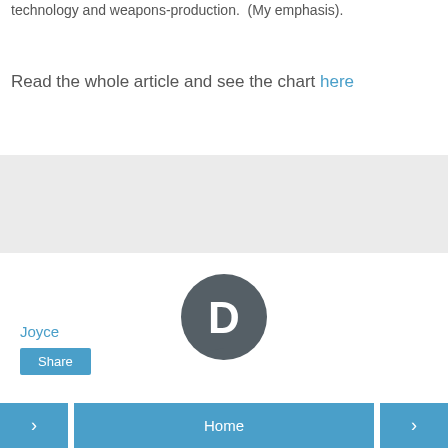technology and weapons-production.  (My emphasis).
Read the whole article and see the chart here
Joyce
Share
[Figure (logo): Disqus comment system logo — dark grey circle with white letter D inside a speech bubble shape]
< Home >